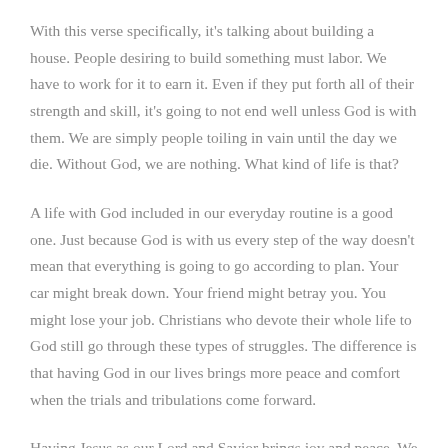With this verse specifically, it's talking about building a house. People desiring to build something must labor. We have to work for it to earn it. Even if they put forth all of their strength and skill, it's going to not end well unless God is with them. We are simply people toiling in vain until the day we die. Without God, we are nothing. What kind of life is that?
A life with God included in our everyday routine is a good one. Just because God is with us every step of the way doesn't mean that everything is going to go according to plan. Your car might break down. Your friend might betray you. You might lose your job. Christians who devote their whole life to God still go through these types of struggles. The difference is that having God in our lives brings more peace and comfort when the trials and tribulations come forward.
Having Jesus as our Lord and Savior brings joy and peace. We may not realize it because of the distractions of the world and the sin